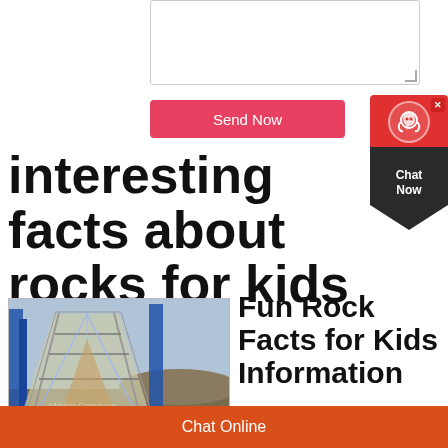[Figure (screenshot): A textarea input box for user text entry]
[Figure (screenshot): A red 'Send Now' button]
[Figure (screenshot): Chat widget with red top section featuring headset icon and dark bottom reading 'Chat Now']
interesting facts about rocks for kids
[Figure (photo): Photo of an industrial conveyor belt or mining equipment with blue metal framework and triangular structure, outdoors setting]
Fun Rock Facts for Kids Information
Chat Online